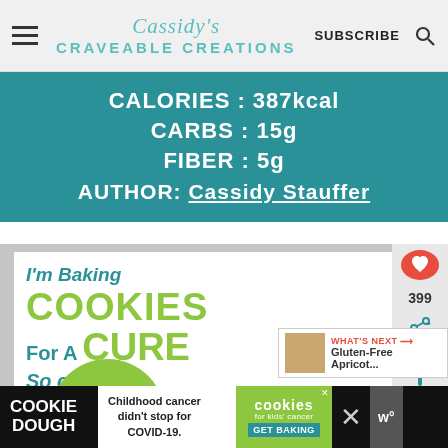Cassidy's Craveable Creations | SUBSCRIBE
CALORIES : 387kcal
CARBS : 15g
FIBER : 5g
AUTHOR: Cassidy Stauffer
[Figure (photo): Advertisement: I'm Baking COOKIES For A CURE So can you! - a girl holding a cookie on the right side]
[Figure (photo): Side buttons: heart/like button showing 399, share button]
[Figure (infographic): What's Next: Gluten-Free Apricot...]
[Figure (infographic): Bottom ad bar: COOKIE DOUGH / Childhood cancer didn't stop for COVID-19. / cookies for kids cancer / GET BAKING / X / W]